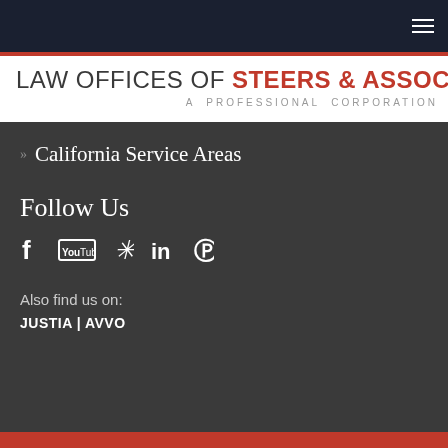Navigation bar with hamburger menu
LAW OFFICES OF STEERS & ASSOCIATES A PROFESSIONAL CORPORATION
California Service Areas
Follow Us
[Figure (illustration): Social media icons: Facebook, YouTube, Yelp, LinkedIn, Pinterest]
Also find us on:
JUSTIA | AVVO
Red footer bar